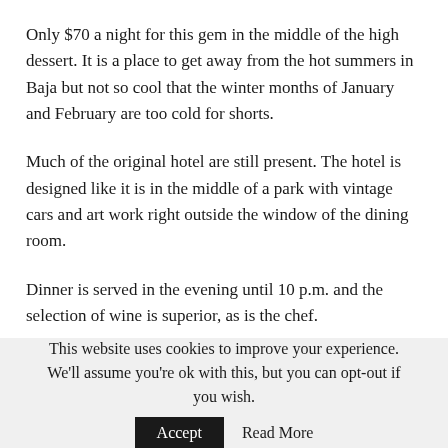Only $70 a night for this gem in the middle of the high dessert. It is a place to get away from the hot summers in Baja but not so cool that the winter months of January and February are too cold for shorts.
Much of the original hotel are still present. The hotel is designed like it is in the middle of a park with vintage cars and art work right outside the window of the dining room.
Dinner is served in the evening until 10 p.m. and the selection of wine is superior, as is the chef.
This place can't be reached by plane, but by bus or passenger vehicle driving from the border south on Mex 1.
· · ·
This website uses cookies to improve your experience. We'll assume you're ok with this, but you can opt-out if you wish.   Accept   Read More